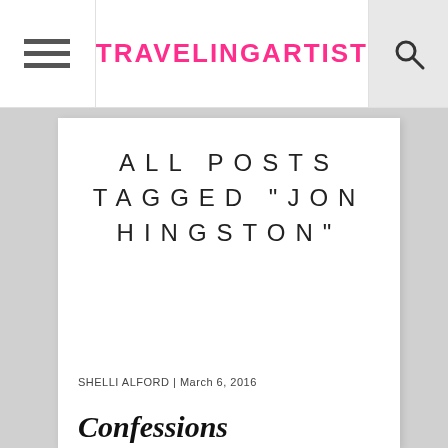TRAVELINGARTIST
ALL POSTS TAGGED "JON HINGSTON"
SHELLI ALFORD | March 6, 2016
Confessions